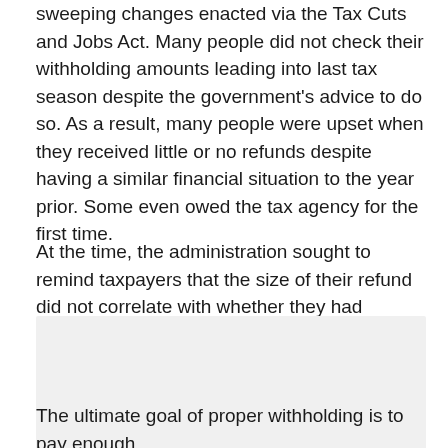sweeping changes enacted via the Tax Cuts and Jobs Act. Many people did not check their withholding amounts leading into last tax season despite the government's advice to do so. As a result, many people were upset when they received little or no refunds despite having a similar financial situation to the year prior. Some even owed the tax agency for the first time.
At the time, the administration sought to remind taxpayers that the size of their refund did not correlate with whether they had received an overall benefit from the 2017 tax reform law.
[Figure (other): A light gray placeholder image block]
The ultimate goal of proper withholding is to pay enough